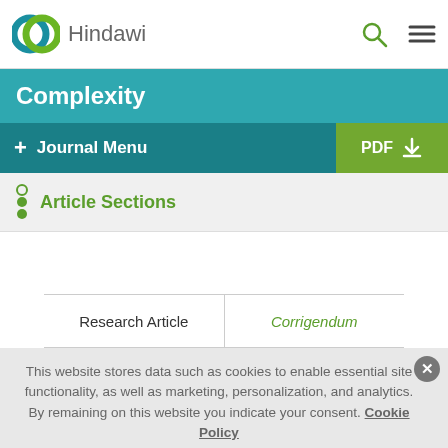[Figure (logo): Hindawi publisher logo with two overlapping circles in teal and green, next to the text 'Hindawi']
Complexity
+ Journal Menu
PDF
Article Sections
Research Article
Corrigendum
This website stores data such as cookies to enable essential site functionality, as well as marketing, personalization, and analytics. By remaining on this website you indicate your consent. Cookie Policy